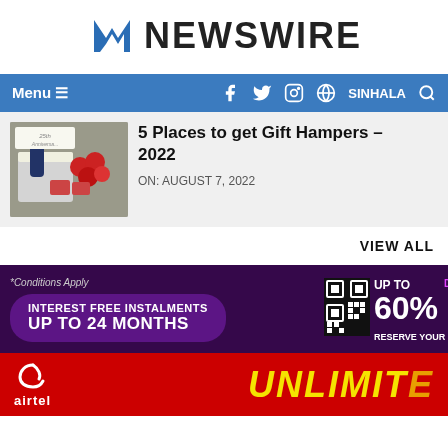[Figure (logo): Newswire logo with stylized N icon in blue and bold NEWSWIRE text]
Menu ≡  f  🐦  📷  🌐 SINHALA 🔍
[Figure (photo): Gift hamper with roses, a bottle, and chocolates for anniversary]
5 Places to get Gift Hampers – 2022
ON: AUGUST 7, 2022
VIEW ALL
[Figure (infographic): Purple advertisement banner: *Conditions Apply, INTEREST FREE INSTALMENTS UP TO 24 MONTHS, with QR code, UP TO 60% DISCOUNT, RESERVE YOUR QUOTA text]
[Figure (infographic): Red Airtel advertisement banner with UNLIMITED text in yellow bold italic]